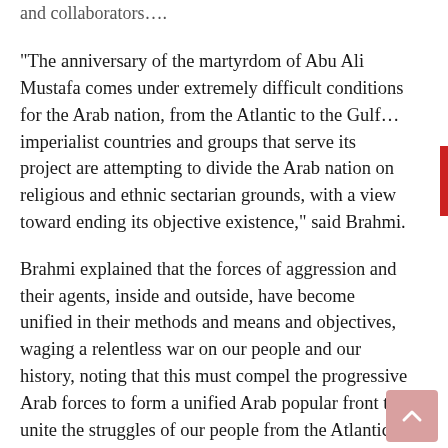and collaborators….
“The anniversary of the martyrdom of Abu Ali Mustafa comes under extremely difficult conditions for the Arab nation, from the Atlantic to the Gulf…imperialist countries and groups that serve its project are attempting to divide the Arab nation on religious and ethnic sectarian grounds, with a view toward ending its objective existence,” said Brahmi.
Brahmi explained that the forces of aggression and their agents, inside and outside, have become unified in their methods and means and objectives, waging a relentless war on our people and our history, noting that this must compel the progressive Arab forces to form a unified Arab popular front to unite the struggles of our people from the Atlantic to the Gulf and expand the circle of resistance, so that resistance forces are not isolated islands